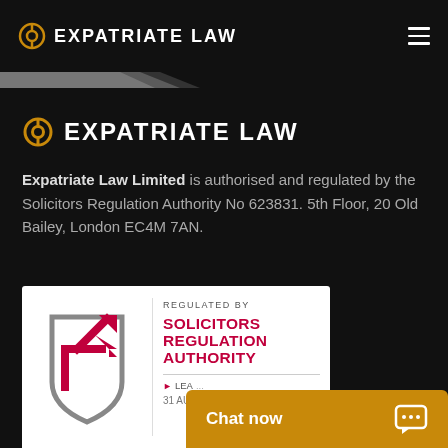EXPATRIATE LAW
EXPATRIATE LAW
Expatriate Law Limited is authorised and regulated by the Solicitors Regulation Authority No 623831. 5th Floor, 20 Old Bailey, London EC4M 7AN.
[Figure (logo): Solicitors Regulation Authority badge with shield logo and text: REGULATED BY SOLICITORS REGULATION AUTHORITY, LEA..., 31 AU...]
Chat now